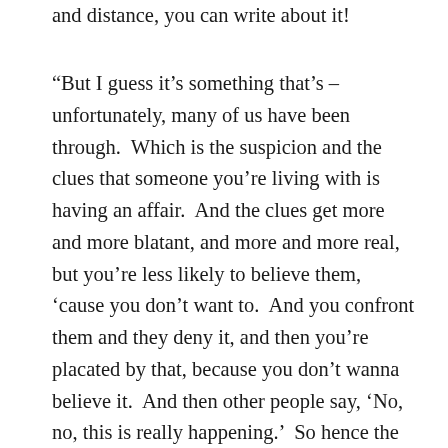and distance, you can write about it!
“But I guess it’s something that’s – unfortunately, many of us have been through.  Which is the suspicion and the clues that someone you’re living with is having an affair.  And the clues get more and more blatant, and more and more real, but you’re less likely to believe them, ‘cause you don’t want to.  And you confront them and they deny it, and then you’re placated by that, because you don’t wanna believe it.  And then other people say, ‘No, no, this is really happening.’  So hence the chorus of that tune.  ‘It would all make sense; all of that makes sense much more than the stuff you’re telling me.’”